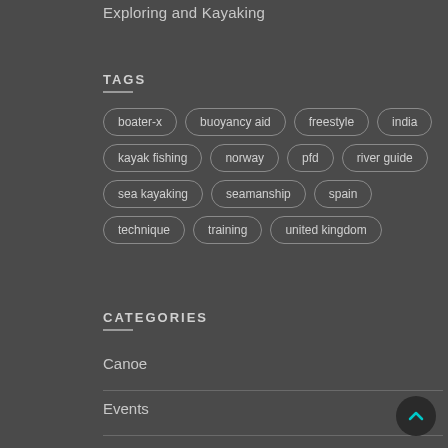Exploring and Kayaking
TAGS
boater-x
buoyancy aid
freestyle
india
kayak fishing
norway
pfd
river guide
sea kayaking
seamanship
spain
technique
training
united kingdom
CATEGORIES
Canoe
Events